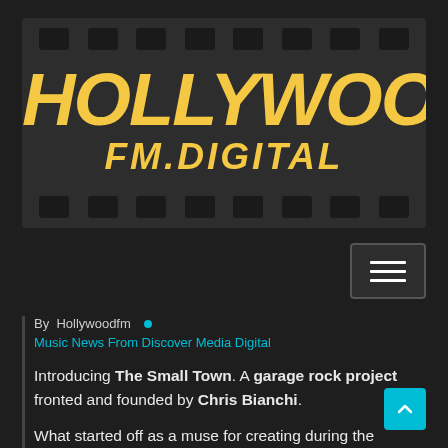[Figure (logo): Hollywood FM Digital logo on dark film strip background with yellow italic bold text]
[Figure (other): Hamburger menu button (three horizontal lines) on dark background]
By Hollywoodfm •
Music News From Discover Media Digital
Introducing The Small Town. A garage rock project fronted and founded by Chris Bianchi.
What started off as a muse for creating during the quarantine only a few months ago, has turned into a new outlet that is quickly gaining